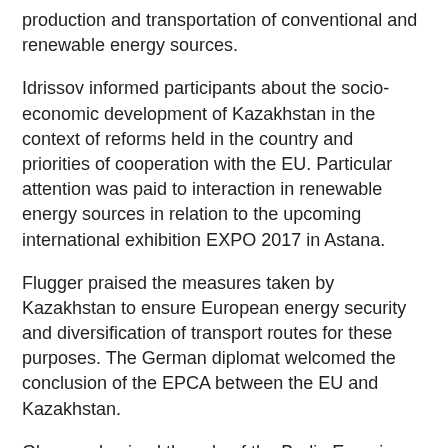production and transportation of conventional and renewable energy sources.
Idrissov informed participants about the socio-economic development of Kazakhstan in the context of reforms held in the country and priorities of cooperation with the EU. Particular attention was paid to interaction in renewable energy sources in relation to the upcoming international exhibition EXPO 2017 in Astana.
Flugger praised the measures taken by Kazakhstan to ensure European energy security and diversification of transport routes for these purposes. The German diplomat welcomed the conclusion of the EPCA between the EU and Kazakhstan.
Glos emphasised the role of the Berlin Eurasian Club initiated by President of Kazakhstan Nursultan Nazarbayev in 2012 to facilitate dialogue between East and West and expand economic cooperation between the EU and Central Asia.
During the event, representatives of German and Kazakh think tanks and energy companies gave detailed reports.
Finally, the Kazakh delegation led by Idrissov participated Oct. 5 in